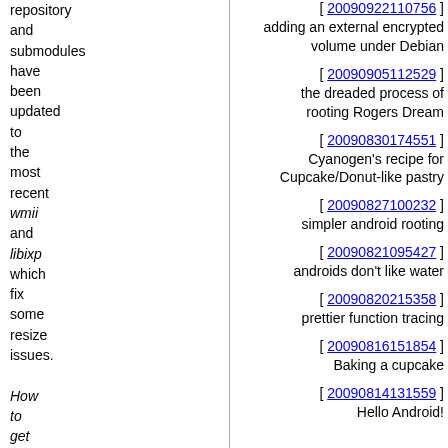repository and submodules have been updated to the most recent wmii and libixp which fix some resize issues.

How to get help?

Visist #wmiirc-lua IRC channel
[ 20090922110756 ] adding an external encrypted volume under Debian
[ 20090905112529 ] the dreaded process of rooting Rogers Dream
[ 20090830174551 ] Cyanogen's recipe for Cupcake/Donut-like pastry
[ 20090827100232 ] simpler android rooting
[ 20090821095427 ] androids don't like water
[ 20090820215358 ] prettier function tracing
[ 20090816151854 ] Baking a cupcake
[ 20090814131559 ] Hello Android!